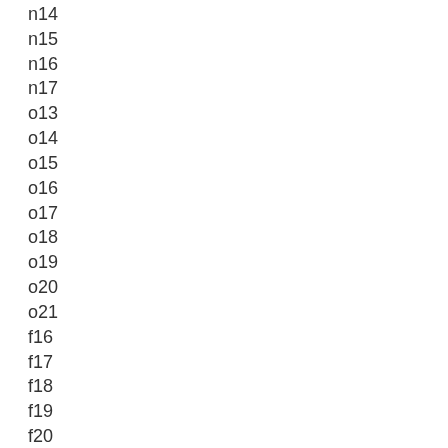n14
n15
n16
n17
o13
o14
o15
o16
o17
o18
o19
o20
o21
f16
f17
f18
f19
f20
f21
f22
no18